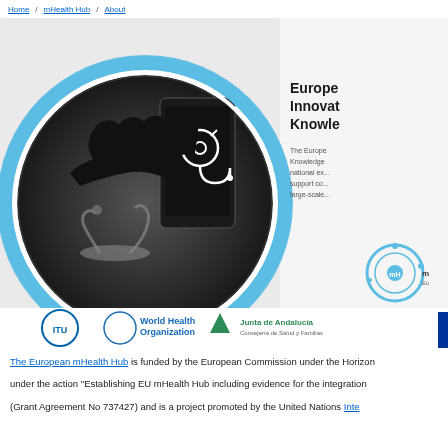[Figure (photo): Banner image showing a hand touching a smartphone/tablet with stethoscope icon, and a stethoscope in background, inside a blue circular frame. Logos of ITU, World Health Organization, Junta de Andalucia are shown below the photo. Right side shows text about European mHealth Hub Innovation and Knowledge, plus a circular logo.]
European mHealth Hub Innovation and Knowledge
The European mHealth Hub – Knowledge... national ex... support co... large-scale...
The European mHealth Hub is funded by the European Commission under the Horizon under the action "Establishing EU mHealth Hub including evidence for the integration (Grant Agreement No 737427) and is a project promoted by the United Nations Inte